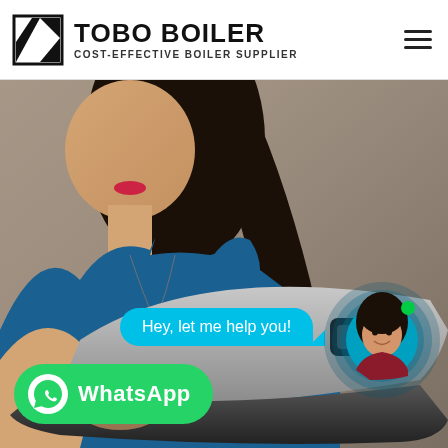[Figure (logo): TOBO BOILER logo with stylized K/boiler icon on left, text TOBO BOILER in bold and COST-EFFECTIVE BOILER SUPPLIER subtitle]
[Figure (photo): Woman in blue top holding a laptop, blurred background, with chat bubble 'Hey, let me help you!', a customer service avatar with teal ripple effect, and a WhatsApp button at bottom left]